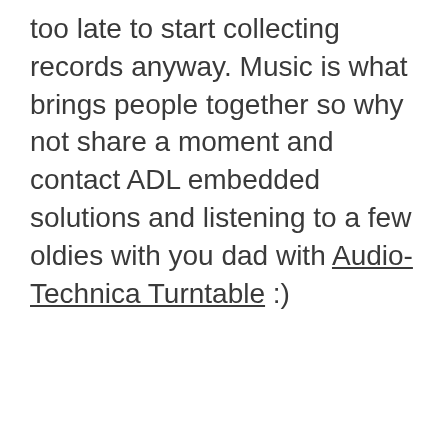too late to start collecting records anyway. Music is what brings people together so why not share a moment and contact ADL embedded solutions and listening to a few oldies with you dad with Audio-Technica Turntable :)